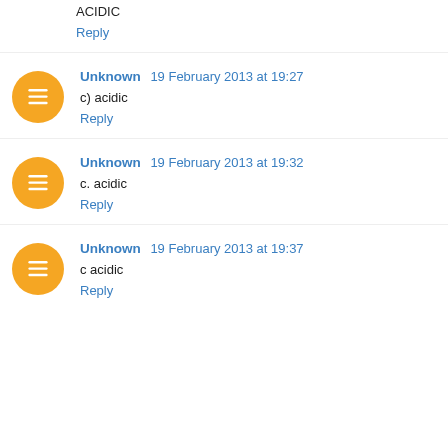ACIDIC
Reply
Unknown 19 February 2013 at 19:27
c) acidic
Reply
Unknown 19 February 2013 at 19:32
c. acidic
Reply
Unknown 19 February 2013 at 19:37
c acidic
Reply